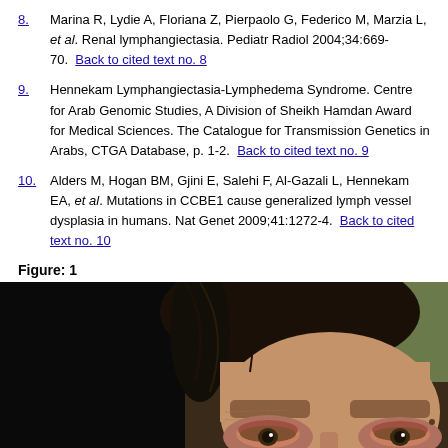8. Marina R, Lydie A, Floriana Z, Pierpaolo G, Federico M, Marzia L, et al. Renal lymphangiectasia. Pediatr Radiol 2004;34:669-70. Back to cited text no. 8
9. Hennekam Lymphangiectasia-Lymphedema Syndrome. Centre for Arab Genomic Studies, A Division of Sheikh Hamdan Award for Medical Sciences. The Catalogue for Transmission Genetics in Arabs, CTGA Database, p. 1-2. Back to cited text no. 9
10. Alders M, Hogan BM, Gjini E, Salehi F, Al-Gazali L, Hennekam EA, et al. Mutations in CCBE1 cause generalized lymph vessel dysplasia in humans. Nat Genet 2009;41:1272-4. Back to cited text no. 10
Figure: 1
[Figure (photo): Close-up photograph of a patient's face showing the eye area. The left portion of the image is black. The patient has dark hair and shows periorbital swelling/edema around both eyes, consistent with lymphangiectasia or lymphedema presentation.]